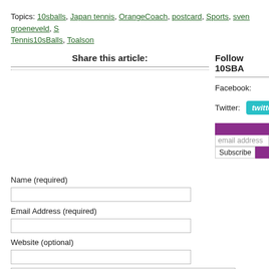Topics: 10sballs, Japan tennis, OrangeCoach, postcard, Sports, sven groeneveld, S Tennis10sBalls, Toalson
Share this article:
Follow 10SBA
Facebook:
Twitter:
[Figure (other): Twitter follow button - cyan rounded rectangle with 'twitter' text]
[Figure (other): Email subscribe widget with purple header bar, email address input, and Subscribe button]
Name (required)
Email Address (required)
Website (optional)